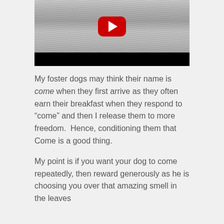[Figure (screenshot): YouTube video thumbnail showing a snowy or sandy field with tire tracks, with a YouTube play button overlay and a black control bar at the bottom.]
My foster dogs may think their name is come when they first arrive as they often earn their breakfast when they respond to “come” and then I release them to more freedom.  Hence, conditioning them that Come is a good thing.
My point is if you want your dog to come repeatedly, then reward generously as he is choosing you over that amazing smell in the leaves